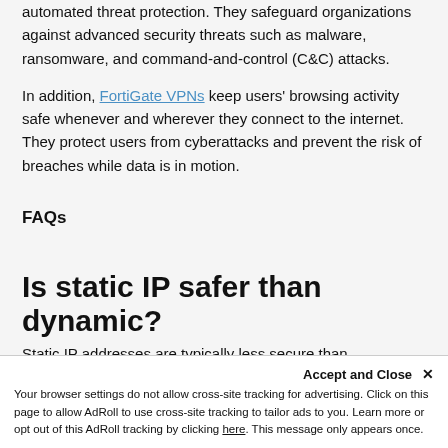automated threat protection. They safeguard organizations against advanced security threats such as malware, ransomware, and command-and-control (C&C) attacks.
In addition, FortiGate VPNs keep users' browsing activity safe whenever and wherever they connect to the internet. They protect users from cyberattacks and prevent the risk of breaches while data is in motion.
FAQs
Is static IP safer than dynamic?
Static IP addresses are typically less secure than dynamic IP addresses. Dynamic IP addresses...
Accept and Close ✕ Your browser settings do not allow cross-site tracking for advertising. Click on this page to allow AdRoll to use cross-site tracking to tailor ads to you. Learn more or opt out of this AdRoll tracking by clicking here. This message only appears once.